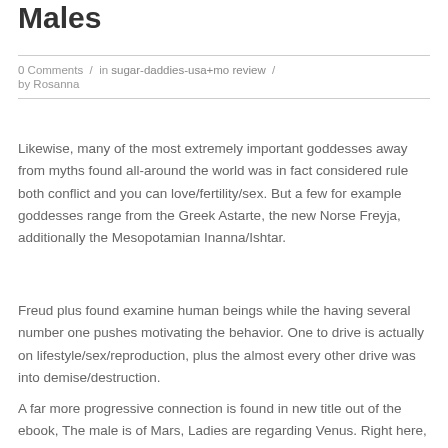Males
0 Comments  /  in sugar-daddies-usa+mo review  /
by Rosanna
Likewise, many of the most extremely important goddesses away from myths found all-around the world was in fact considered rule both conflict and you can love/fertility/sex. But a few for example goddesses range from the Greek Astarte, the new Norse Freyja, additionally the Mesopotamian Inanna/Ishtar.
Freud plus found examine human beings while the having several number one pushes motivating the behavior. One to drive is actually on lifestyle/sex/reproduction, plus the almost every other drive was into demise/destruction.
A far more progressive connection is found in new title out of the ebook, The male is of Mars, Ladies are regarding Venus. Right here, Mars/Ares